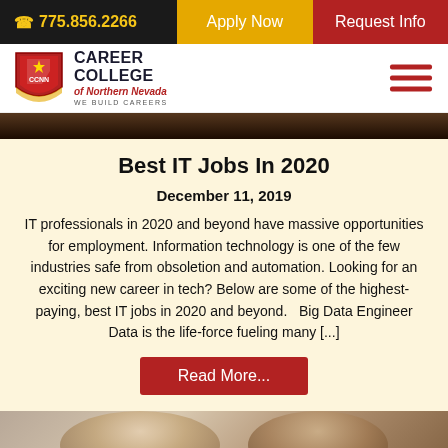775.856.2266  Apply Now  Request Info
[Figure (logo): Career College of Northern Nevada shield logo with CCNN text]
Best IT Jobs In 2020
December 11, 2019
IT professionals in 2020 and beyond have massive opportunities for employment. Information technology is one of the few industries safe from obsoletion and automation. Looking for an exciting new career in tech? Below are some of the highest-paying, best IT jobs in 2020 and beyond.   Big Data Engineer Data is the life-force fueling many [...]
Read More...
[Figure (photo): Two people looking at something together, partially visible at bottom of page]